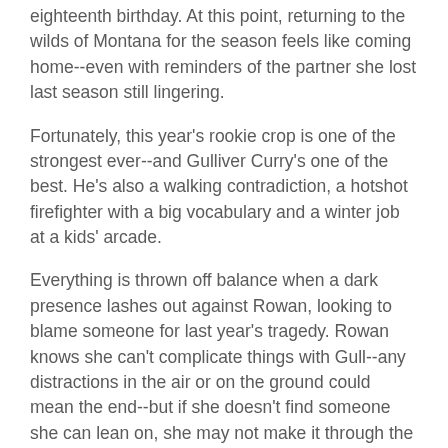eighteenth birthday. At this point, returning to the wilds of Montana for the season feels like coming home--even with reminders of the partner she lost last season still lingering.
Fortunately, this year's rookie crop is one of the strongest ever--and Gulliver Curry's one of the best. He's also a walking contradiction, a hotshot firefighter with a big vocabulary and a winter job at a kids' arcade.
Everything is thrown off balance when a dark presence lashes out against Rowan, looking to blame someone for last year's tragedy. Rowan knows she can't complicate things with Gull--any distractions in the air or on the ground could mean the end--but if she doesn't find someone she can lean on, she may not make it through the summer. . . .
My Thoughts: This book kept me up reading until late into the night. I just couldn't put it down until I knew who the villain was and until the romance was resolved. I have never read anything about smoke jumpers and found the